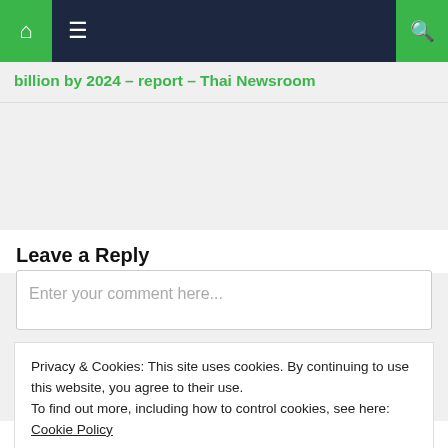Navigation bar with home, menu, and search icons
billion by 2024 – report – Thai Newsroom
Leave a Reply
Enter your comment here...
Privacy & Cookies: This site uses cookies. By continuing to use this website, you agree to their use.
To find out more, including how to control cookies, see here:
Cookie Policy
Close and accept
spread from a shrew'